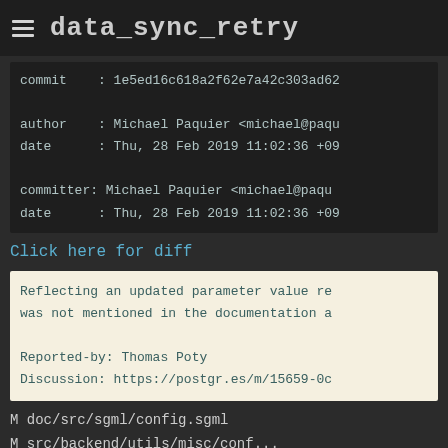data_sync_retry
commit    : 1e5ed16c618a2f62e7a42c303ad62
author    : Michael Paquier <michael@paqu
date      : Thu, 28 Feb 2019 11:02:36 +09

committer: Michael Paquier <michael@paqu
date      : Thu, 28 Feb 2019 11:02:36 +09
Click here for diff
Reflecting an updated parameter value re
was not mentioned in the documentation a

Reported-by: Thomas Poty
Discussion: https://postgr.es/m/15659-0c
M doc/src/sgml/config.sgml
M src/backend/utils/misc/conf...